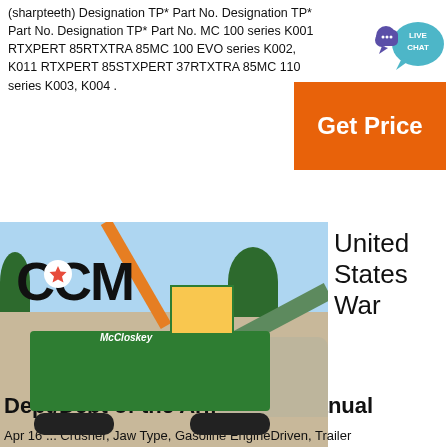(sharpteeth) Designation TP* Part No. Designation TP* Part No. Designation TP* Part No. MC 100 series K001 RTXPERT 85RTXTRA 85MC 100 EVO series K002, K011 RTXPERT 85STXPERT 37RTXTRA 85MC 110 series K003, K004 .
[Figure (other): Live chat button with speech bubble icon]
[Figure (other): Orange 'Get Price' button]
[Figure (photo): Photo of a McCloskey mobile crusher/screener machine (green) on a construction/quarry site with 'CCM' large letters and red star logo visible in the background. A crane arm is visible at top, conveyor belt on the right side.]
United States War
Dept/Dept of the Army Tech Manual
Apr 16 ... Crusher, Jaw Type, Gasoline EngineDriven, Trailer